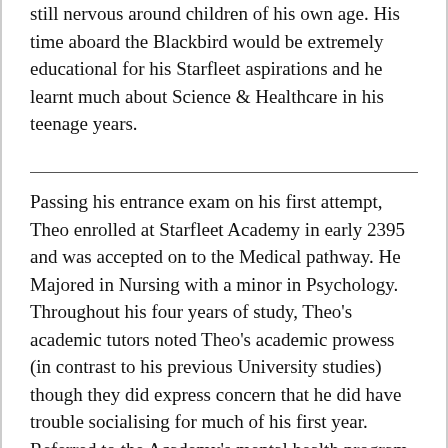still nervous around children of his own age. His time aboard the Blackbird would be extremely educational for his Starfleet aspirations and he learnt much about Science & Healthcare in his teenage years.
Passing his entrance exam on his first attempt, Theo enrolled at Starfleet Academy in early 2395 and was accepted on to the Medical pathway. He Majored in Nursing with a minor in Psychology. Throughout his four years of study, Theo's academic tutors noted Theo's academic prowess (in contrast to his previous University studies) though they did express concern that he did have trouble socialising for much of his first year. Referred to the Academy's mental health program, he was diagnosed with low self-esteem likely as a result of his father's domineering parenting. Weekly meetings with counsellors and a desire to push himself to be the opposite of his self-image